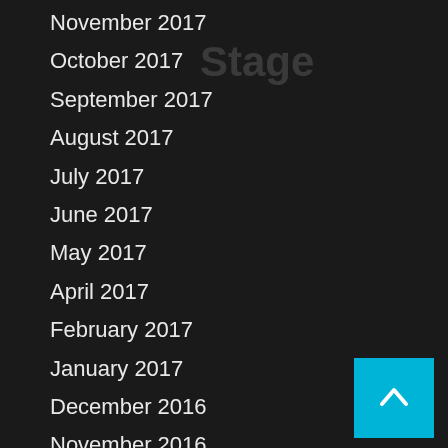November 2017
October 2017
September 2017
August 2017
July 2017
June 2017
May 2017
April 2017
February 2017
January 2017
December 2016
November 2016
August 2016